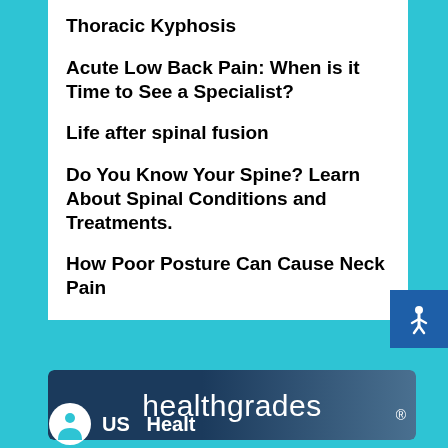Thoracic Kyphosis
Acute Low Back Pain: When is it Time to See a Specialist?
Life after spinal fusion
Do You Know Your Spine? Learn About Spinal Conditions and Treatments.
How Poor Posture Can Cause Neck Pain
[Figure (logo): Healthgrades logo — white text on dark navy/blue-grey gradient background with rounded corners]
[Figure (logo): US Health logo — partially visible at bottom, circular icon with figure and text starting 'US' and 'Healt...']